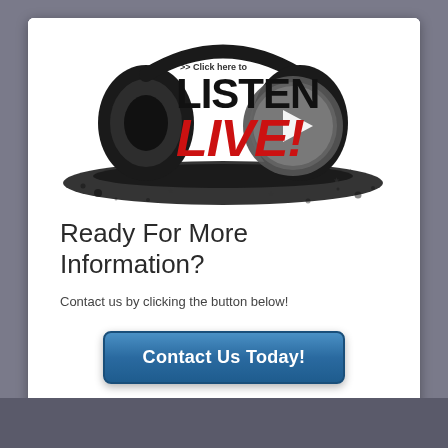[Figure (illustration): Listen Live banner with headphones and a play button. Text reads '>> Click here to LISTEN LIVE!' with stylized graffiti lettering. Black splatter brush background with headphones graphic and metallic play button.]
Ready For More Information?
Contact us by clicking the button below!
Contact Us Today!